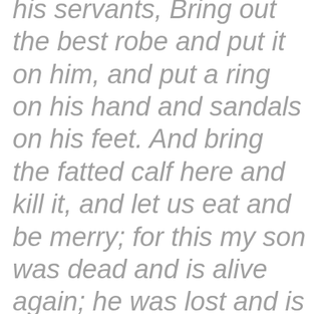his servants, Bring out the best robe and put it on him, and put a ring on his hand and sandals on his feet. And bring the fatted calf here and kill it, and let us eat and be merry; for this my son was dead and is alive again; he was lost and is found.' And they began to be